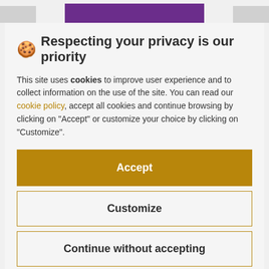[Figure (screenshot): Top navigation bar partially visible with purple banner and gray elements]
🍪 Respecting your privacy is our priority
This site uses cookies to improve user experience and to collect information on the use of the site. You can read our cookie policy, accept all cookies and continue browsing by clicking on "Accept" or customize your choice by clicking on "Customize".
Accept
Customize
Continue without accepting